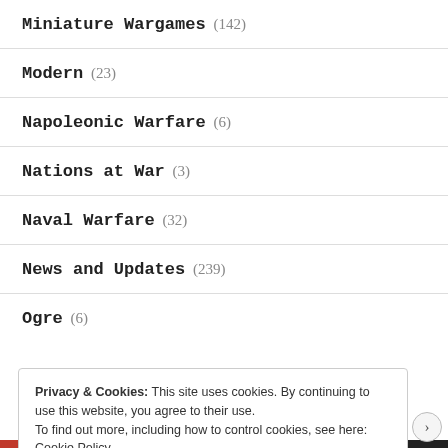Miniature Wargames (142)
Modern (23)
Napoleonic Warfare (6)
Nations at War (3)
Naval Warfare (32)
News and Updates (239)
Ogre (6)
Privacy & Cookies: This site uses cookies. By continuing to use this website, you agree to their use. To find out more, including how to control cookies, see here: Cookie Policy